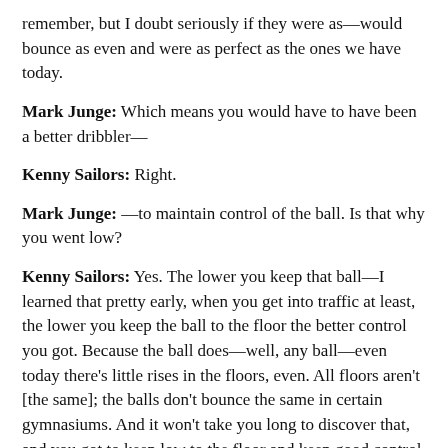remember, but I doubt seriously if they were as—would bounce as even and were as perfect as the ones we have today.
Mark Junge: Which means you would have to have been a better dribbler—
Kenny Sailors: Right.
Mark Junge: —to maintain control of the ball. Is that why you went low?
Kenny Sailors: Yes. The lower you keep that ball—I learned that pretty early, when you get into traffic at least, the lower you keep the ball to the floor the better control you got. Because the ball does—well, any ball—even today there's little rises in the floors, even. All floors aren't [the same]; the balls don't bounce the same in certain gymnasiums. And it won't take you long to discover that, and you got to keep low to the floor and keep good control of it.
Mark Junge: I remember one time in Denver we played St. Josephs High School, had a tile floor. What kind of floors did you